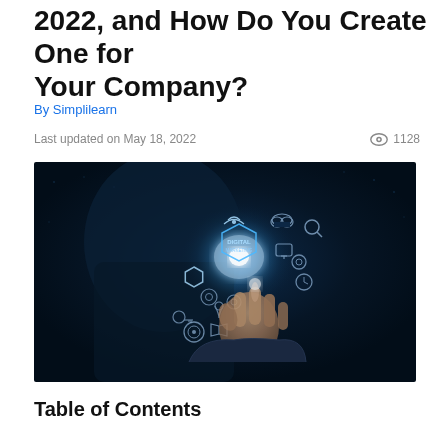2022, and How Do You Create One for Your Company?
By Simplilearn
Last updated on May 18, 2022   👁 1128
[Figure (photo): A person's hand touching a glowing digital marketing hexagon interface with various technology icons floating around it, set against a dark blue background.]
Table of Contents